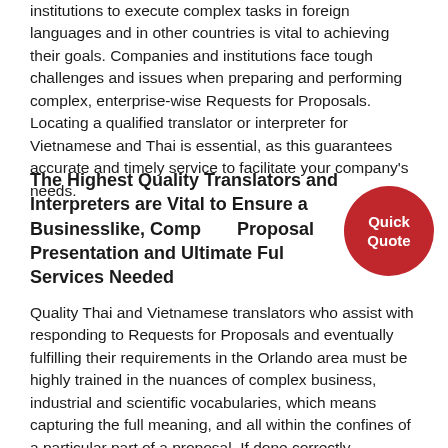institutions to execute complex tasks in foreign languages and in other countries is vital to achieving their goals. Companies and institutions face tough challenges and issues when preparing and performing complex, enterprise-wise Requests for Proposals. Locating a qualified translator or interpreter for Vietnamese and Thai is essential, as this guarantees accurate and timely service to facilitate your company's needs.
The Highest Quality Translators and Interpreters are Vital to Ensure a Businesslike, Complete Proposal Presentation and Ultimate Fulfillment of the Services Needed
Quality Thai and Vietnamese translators who assist with responding to Requests for Proposals and eventually fulfilling their requirements in the Orlando area must be highly trained in the nuances of complex business, industrial and scientific vocabularies, which means capturing the full meaning, and all within the confines of a particular part of a proposal. If done correctly, translation should be virtually invisible in relaying contractual requirements to a decision maker who speaks another language.